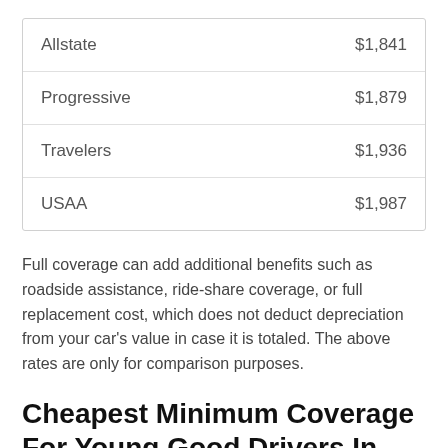| Company | Rate |
| --- | --- |
| Allstate | $1,841 |
| Progressive | $1,879 |
| Travelers | $1,936 |
| USAA | $1,987 |
Full coverage can add additional benefits such as roadside assistance, ride-share coverage, or full replacement cost, which does not deduct depreciation from your car's value in case it is totaled. The above rates are only for comparison purposes.
Cheapest Minimum Coverage For Young Good Drivers In Nashville TN
Here are the best car insurance companies that offer cheap car